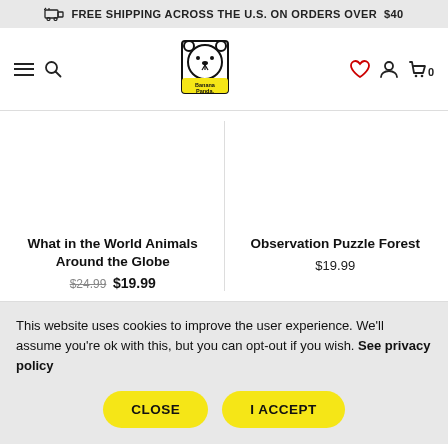FREE SHIPPING ACROSS THE U.S. ON ORDERS OVER $40
[Figure (logo): Banana Panda logo — cartoon bear with yellow label]
What in the World Animals Around the Globe
$24.99 $19.99
Observation Puzzle Forest
$19.99
This website uses cookies to improve the user experience. We'll assume you're ok with this, but you can opt-out if you wish. See privacy policy
CLOSE
I ACCEPT